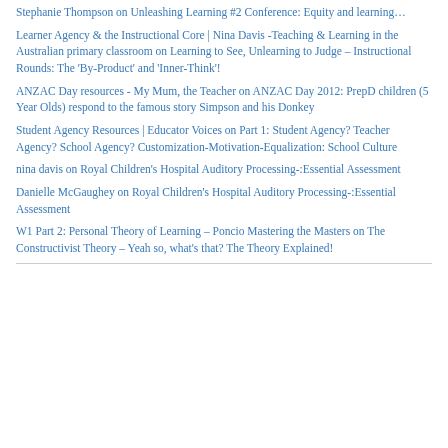Stephanie Thompson on Unleashing Learning #2 Conference: Equity and learning…
Learner Agency & the Instructional Core | Nina Davis -Teaching & Learning in the Australian primary classroom on Learning to See, Unlearning to Judge – Instructional Rounds: The 'By-Product' and 'Inner-Think'!
ANZAC Day resources - My Mum, the Teacher on ANZAC Day 2012: PrepD children (5 Year Olds) respond to the famous story Simpson and his Donkey
Student Agency Resources | Educator Voices on Part 1: Student Agency? Teacher Agency? School Agency? Customization-Motivation-Equalization: School Culture
nina davis on Royal Children's Hospital Auditory Processing-:Essential Assessment
Danielle McGaughey on Royal Children's Hospital Auditory Processing-:Essential Assessment
W1 Part 2: Personal Theory of Learning – Poncio Mastering the Masters on The Constructivist Theory – Yeah so, what's that? The Theory Explained!